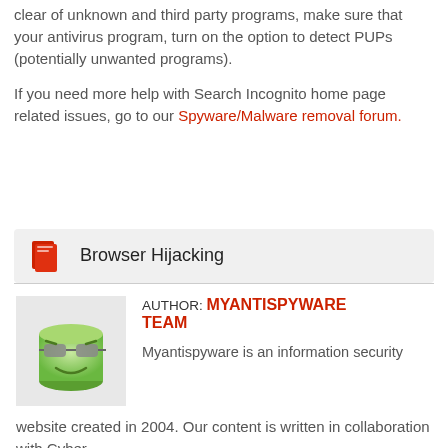clear of unknown and third party programs, make sure that your antivirus program, turn on the option to detect PUPs (potentially unwanted programs).
If you need more help with Search Incognito home page related issues, go to our Spyware/Malware removal forum.
[Figure (other): Tag box with red book icon and label 'Browser Hijacking']
[Figure (illustration): Avatar image of a smiling green cylindrical character with sunglasses]
AUTHOR: MYANTISPYWARE TEAM
Myantispyware is an information security website created in 2004. Our content is written in collaboration with Cyber